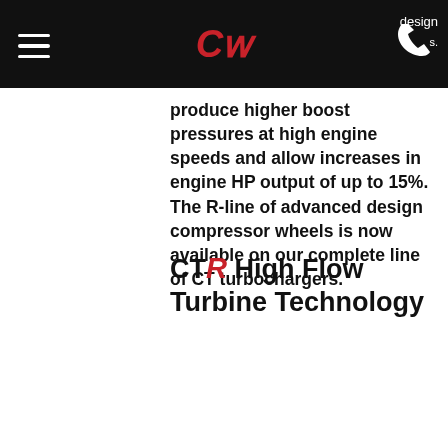CT logo navigation bar with hamburger menu, phone icon, and text 'design'
produce higher boost pressures at high engine speeds and allow increases in engine HP output of up to 15%. The R-line of advanced design compressor wheels is now available on our complete line of CT turbochargers.
CTR High Flow Turbine Technology
The CTR Turbine wheels are 25% lower inertia